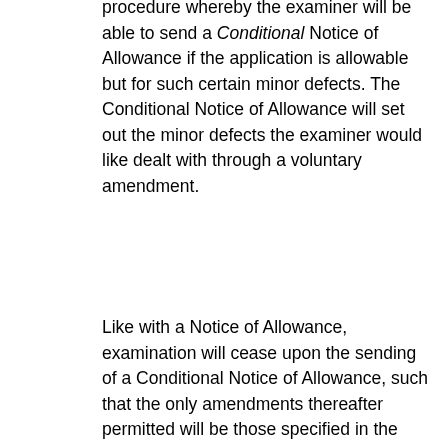procedure whereby the examiner will be able to send a Conditional Notice of Allowance if the application is allowable but for such certain minor defects.  The Conditional Notice of Allowance will set out the minor defects the examiner would like dealt with through a voluntary amendment.
Like with a Notice of Allowance, examination will cease upon the sending of a Conditional Notice of Allowance, such that the only amendments thereafter permitted will be those specified in the Conditional Notice of Allowance.  The proposed changes afford some flexibility here, however.  For example, other amendments may be made at this point, but only if it is obvious that something other than what actually appears in the specification/drawings was intended.
ST.26 FORMAT FOR SEQUENCE LISTINGS
For applications with a filing date (or International Filing